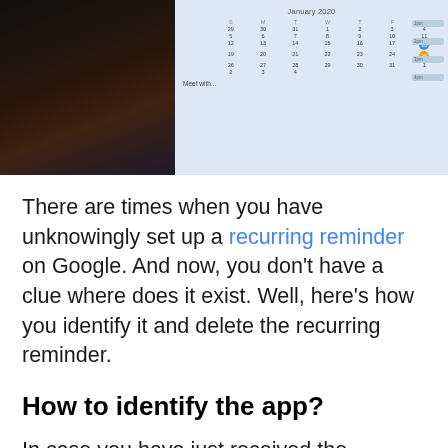[Figure (photo): A smartphone or tablet displaying a Google Calendar app showing January 2020, with a dark background on the left side and a blue-tinted calendar view on the right.]
There are times when you have unknowingly set up a recurring reminder on Google. And now, you don't have a clue where does it exist. Well, here's how you identify it and delete the recurring reminder.
How to identify the app?
In case you have just received the